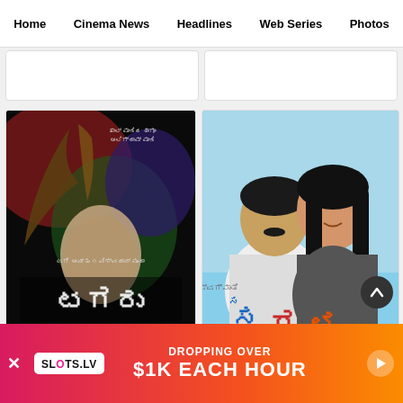Home | Cinema News | Headlines | Web Series | Photos
[Figure (photo): Movie poster for Tagaru - Kannada film with dark dramatic illustration of a man with horns and Kannada title text]
Tagaru
[Figure (photo): Movie poster for Googal - Kannada film showing a man and woman smiling together with colorful Kannada title text in red, blue and orange]
Googal
[Figure (screenshot): Advertisement banner for Slots.LV: DROPPING OVER $1K EACH HOUR]